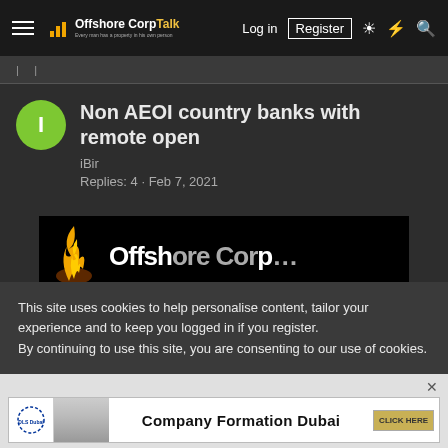Offshore Corp Talk — Log in | Register
Non AEOI country banks with remote open
iBir
Replies: 4 · Feb 7, 2021
[Figure (screenshot): Partial view of Offshore Corp Talk promotional banner with flame logo]
This site uses cookies to help personalise content, tailor your experience and to keep you logged in if you register.
By continuing to use this site, you are consenting to our use of cookies.
✓ Accept    Learn more...
[Figure (other): DLS Dubai Company Formation Dubai advertisement banner with CLICK HERE button]